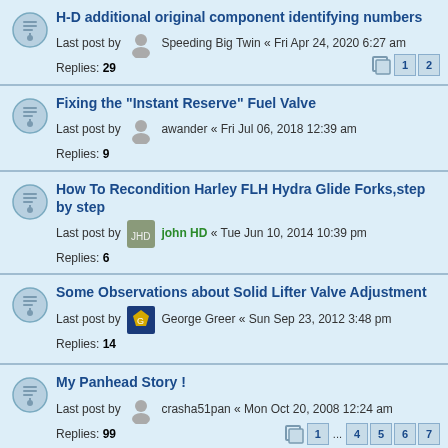H-D additional original component identifying numbers
Last post by Speeding Big Twin « Fri Apr 24, 2020 6:27 am
Replies: 29
Fixing the "Instant Reserve" Fuel Valve
Last post by awander « Fri Jul 06, 2018 12:39 am
Replies: 9
How To Recondition Harley FLH Hydra Glide Forks,step by step
Last post by john HD « Tue Jun 10, 2014 10:39 pm
Replies: 6
Some Observations about Solid Lifter Valve Adjustment
Last post by George Greer « Sun Sep 23, 2012 3:48 pm
Replies: 14
My Panhead Story !
Last post by crasha51pan « Mon Oct 20, 2008 12:24 am
Replies: 99
42 WLA type differences
Last post by matt45 « Tue Dec 11, 2007 2:17 pm
Replies: 2
Rebuilding M Linkert carburetors